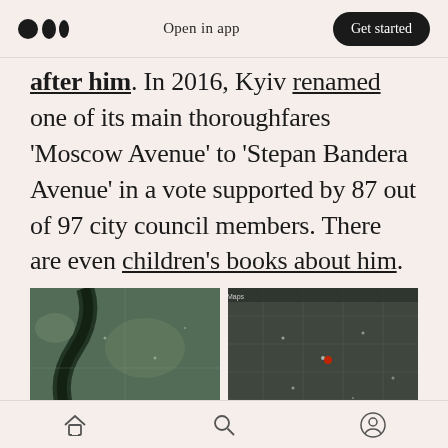Medium logo | Open in app | Get started
after him. In 2016, Kyiv renamed one of its main thoroughfares 'Moscow Avenue' to 'Stepan Bandera Avenue' in a vote supported by 87 out of 97 city council members. There are even children's books about him.
[Figure (photo): Two satellite map images side by side. Left: aerial/satellite view of Kyiv showing Stepan Bandera Ave leading towards Babyn Yar. Right: aerial/satellite view of Lviv showing Stepan Bandera monument area.]
Left - Kyiv: Stepan Bandera Ave (leading towards Babyn Yar — where more than 100,000 Jews were murdered in the Holocaust) Right - Lviv: Stepan Bandera monument and
Home | Search | Profile